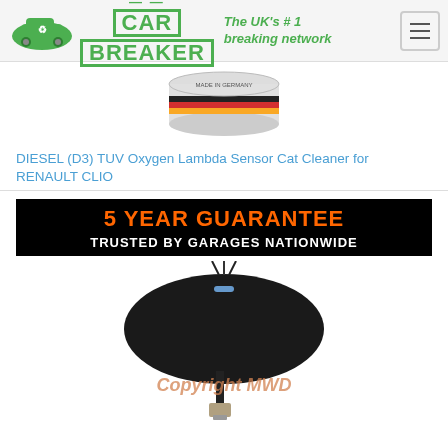[Figure (logo): Car Breaker logo with green car recycling icon and green text 'CAR BREAKER' with dashes, tagline 'The UK's #1 breaking network' in green italic]
[Figure (photo): Product image partially visible - a round tin can with German flag colors, 'MADE IN GERMANY' text]
DIESEL (D3) TUV Oxygen Lambda Sensor Cat Cleaner for RENAULT CLIO
[Figure (photo): Black banner with orange bold text '5 YEAR GUARANTEE' and white bold text 'TRUSTED BY GARAGES NATIONWIDE', below is a photo of a black oxygen lambda sensor with wire coil and metal connector tip, with 'Copyright MWD' watermark overlay]